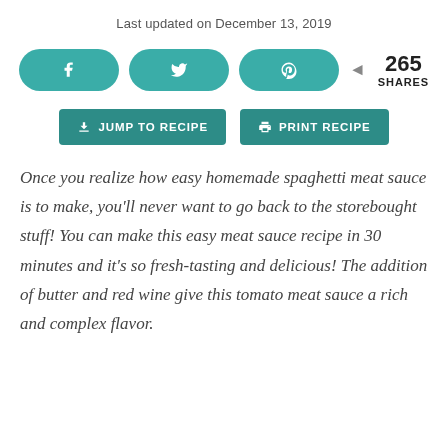Last updated on December 13, 2019
[Figure (infographic): Social sharing buttons: Facebook (f), Twitter (bird icon), Pinterest (p), and share count showing 265 SHARES]
[Figure (infographic): Two action buttons: JUMP TO RECIPE and PRINT RECIPE]
Once you realize how easy homemade spaghetti meat sauce is to make, you'll never want to go back to the storebought stuff! You can make this easy meat sauce recipe in 30 minutes and it's so fresh-tasting and delicious! The addition of butter and red wine give this tomato meat sauce a rich and complex flavor.